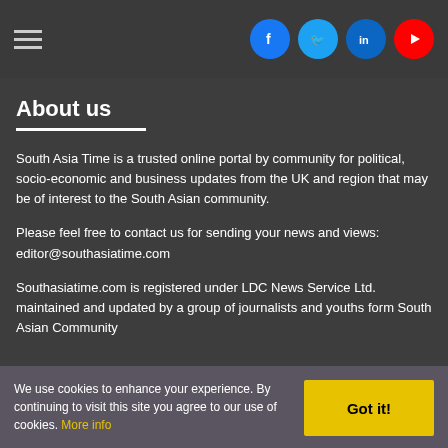South Asia Time – header with hamburger menu and social icons (Facebook, Twitter, LinkedIn, YouTube)
About us
South Asia Time is a trusted online portal by community for political, socio-economic and business updates from the UK and region that may be of interest to the South Asian community.
Please feel free to contact us for sending your news and views: editor@southasiatime.com
Southasiatime.com is registered under LDC News Service Ltd. maintained and updated by a group of journalists and youths form South Asian Community
We use cookies to enhance your experience. By continuing to visit this site you agree to our use of cookies. More info